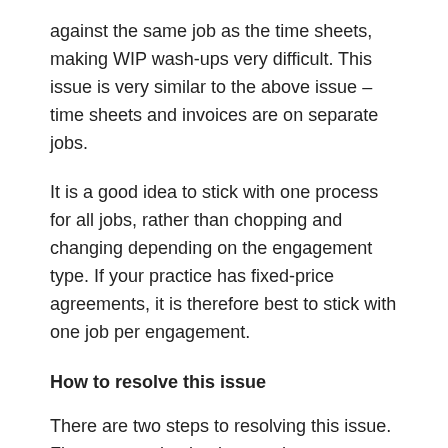against the same job as the time sheets, making WIP wash-ups very difficult. This issue is very similar to the above issue – time sheets and invoices are on separate jobs.
It is a good idea to stick with one process for all jobs, rather than chopping and changing depending on the engagement type. If your practice has fixed-price agreements, it is therefore best to stick with one job per engagement.
How to resolve this issue
There are two steps to resolving this issue. First you need to implement the correct processes for managing fixed-price agreements, where you only have one job per engagement. Read Chapter 2: Industry Billing Models to understand the various types of fixed-price agreements, then read Chapter 7: Setting Up Engagements. These two chapters will give you an in-depth understanding of how to best run fixed-price